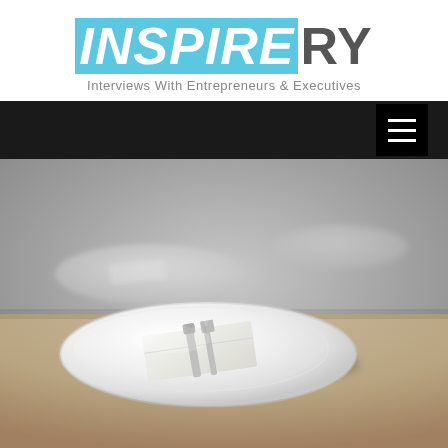[Figure (logo): Inspirery logo with 'INSPIRE' in white on cyan/light-blue background (italic, bold) and 'RY' in dark gray, with tagline 'Interviews With Entrepreneurs & Executives' below]
Interviews With Entrepreneurs & Executives
[Figure (photo): A muted, desaturated photograph of white dinner plates on a wooden table, with silverware and a folded napkin on the foreground plate. Background plates are blurred/out of focus. A black hamburger menu button is visible in the top-right area.]